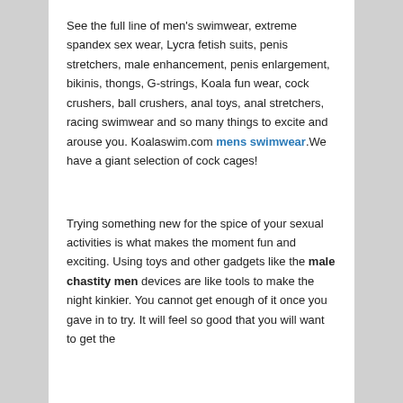See the full line of men's swimwear, extreme spandex sex wear, Lycra fetish suits, penis stretchers, male enhancement, penis enlargement, bikinis, thongs, G-strings, Koala fun wear, cock crushers, ball crushers, anal toys, anal stretchers, racing swimwear and so many things to excite and arouse you. Koalaswim.com mens swimwear.We have a giant selection of cock cages!
Trying something new for the spice of your sexual activities is what makes the moment fun and exciting. Using toys and other gadgets like the male chastity men devices are like tools to make the night kinkier. You cannot get enough of it once you gave in to try. It will feel so good that you will want to get the